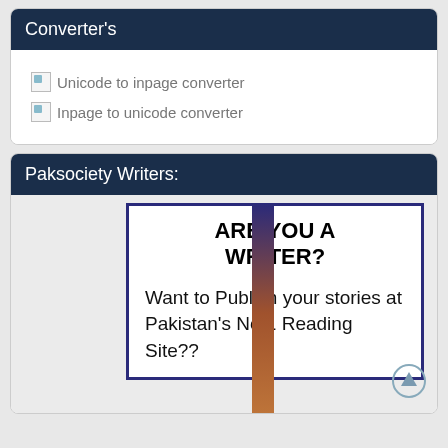Converter's
Unicode to inpage converter
Inpage to unicode converter
Paksociety Writers:
[Figure (illustration): Advertisement card with bold text 'ARE YOU A WRITER? Want to Publish your stories at Pakistan's No 1 Reading Site??' with a decorative colored strip on the right side.]